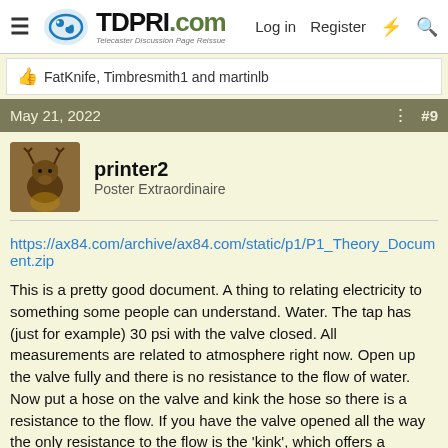TDPRI.com — Telecaster Discussion Page Reissue — Log in  Register
FatKnife, Timbresmith1 and martinlb
May 21, 2022  #9
printer2
Poster Extraordinaire
https://ax84.com/archive/ax84.com/static/p1/P1_Theory_Document.zip
This is a pretty good document. A thing to relating electricity to something some people can understand. Water. The tap has (just for example) 30 psi with the valve closed. All measurements are related to atmosphere right now. Open up the valve fully and there is no resistance to the flow of water. Now put a hose on the valve and kink the hose so there is a resistance to the flow. If you have the valve opened all the way the only resistance to the flow is the 'kink', which offers a resistance to the flow. In electrical terms we would call this a